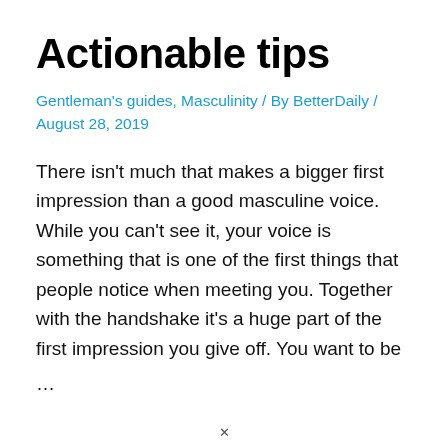Actionable tips
Gentleman's guides, Masculinity / By BetterDaily / August 28, 2019
There isn't much that makes a bigger first impression than a good masculine voice. While you can't see it, your voice is something that is one of the first things that people notice when meeting you. Together with the handshake it's a huge part of the first impression you give off. You want to be
...